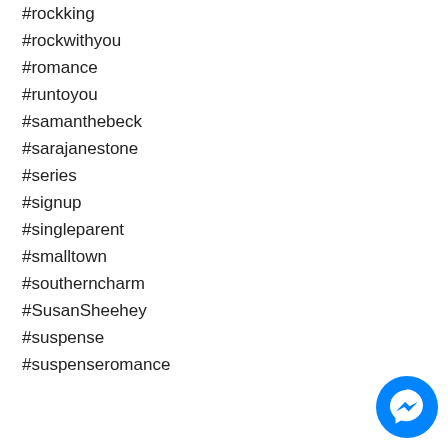#rockking
#rockwithyou
#romance
#runtoyou
#samanthebeck
#sarajanestone
#series
#signup
#singleparent
#smalltown
#southerncharm
#SusanSheehey
#suspense
#suspenseromance
[Figure (illustration): Facebook Messenger chat button icon (blue circle with white lightning bolt messenger logo)]